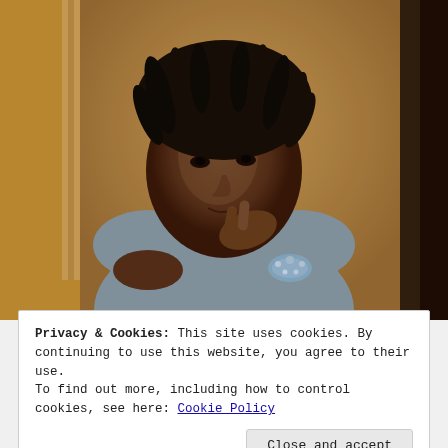[Figure (photo): A young Black woman with short dreadlocks wearing a sleeveless grey top and a beaded bracelet, resting her chin on her hand and looking thoughtfully to the side. The background appears to be warm golden-brown tones suggesting an indoor or ornate setting.]
Privacy & Cookies: This site uses cookies. By continuing to use this website, you agree to their use.
To find out more, including how to control cookies, see here: Cookie Policy
Close and accept